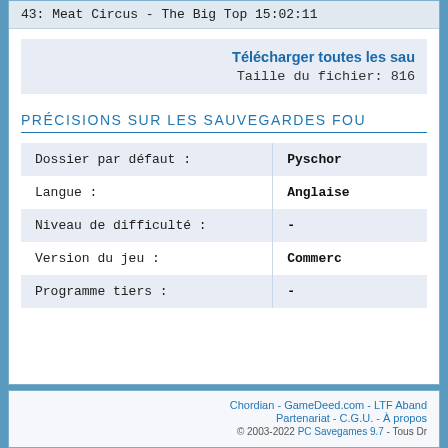43: Meat Circus - The Big Top 15:02:11
Télécharger toutes les sau
Taille du fichier: 816
PRÉCISIONS SUR LES SAUVEGARDES FOU
|  |  |
| --- | --- |
| Dossier par défaut : | Pyschor |
| Langue : | Anglaise |
| Niveau de difficulté : | - |
| Version du jeu : | Commerc |
| Programme tiers : | - |
Chordian - GameDeed.com - LTF Aband
Partenariat - C.G.U. - À propos
© 2003-2022 PC Savegames 9.7 - Tous Dr